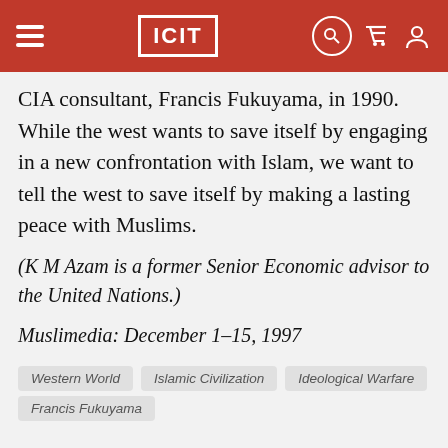ICIT
CIA consultant, Francis Fukuyama, in 1990. While the west wants to save itself by engaging in a new confrontation with Islam, we want to tell the west to save itself by making a lasting peace with Muslims.
(K M Azam is a former Senior Economic advisor to the United Nations.)
Muslimedia: December 1-15, 1997
Western World   Islamic Civilization   Ideological Warfare
Francis Fukuyama